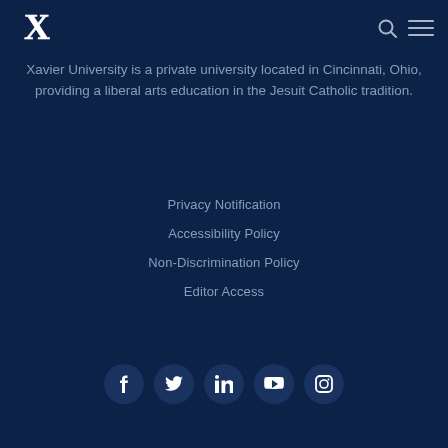[Figure (logo): Xavier University X logo in white on dark navy background, top left corner]
Xavier University is a private university located in Cincinnati, Ohio, providing a liberal arts education in the Jesuit Catholic tradition.
Privacy Notification
Accessibility Policy
Non-Discrimination Policy
Editor Access
[Figure (infographic): Five social media icons in circular navy buttons: Facebook (f), Twitter (bird/t), LinkedIn (in), YouTube (play button), Instagram (camera)]